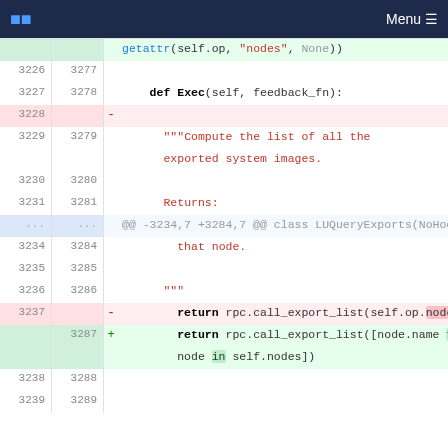Menu
[Figure (screenshot): Code diff view showing Python source changes. Lines 3226-3239 (old) and 3277-3289 (new). Diff shows removal of 'return rpc.call_export_list(self.op.nodes)' and addition of 'return rpc.call_export_list([node.name for node in self.nodes])'. Context includes def Exec method with docstring about computing list of exported system images.]